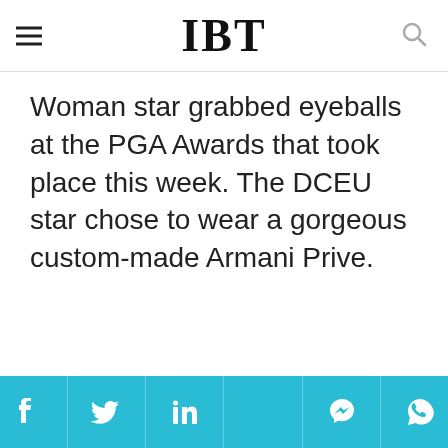IBT
Woman star grabbed eyeballs at the PGA Awards that took place this week. The DCEU star chose to wear a gorgeous custom-made Armani Prive.
[Figure (other): Advertisement placeholder bar (light gray)]
[Figure (other): Advertisement placeholder box with inner gray rectangle]
Social sharing bar with Facebook, Twitter, LinkedIn, Messenger, WhatsApp icons